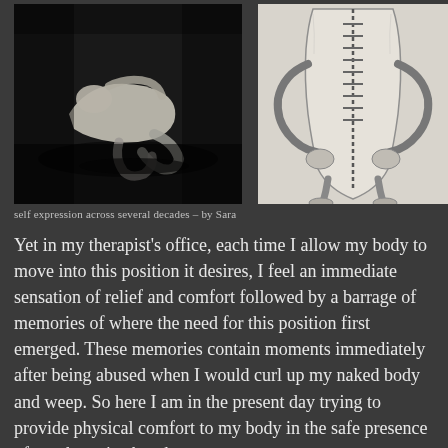[Figure (photo): Black and white photograph of a person curled up in a fetal position on the ground, dark tones]
[Figure (illustration): Pencil sketch drawing of a torso/body with a zipper motif running down the center, with arms folded around it]
self expression across several decades – by Sara
Yet in my therapist's office, each time I allow my body to move into this position it desires, I feel an immediate sensation of relief and comfort followed by a barrage of memories of where the need for this position first emerged. These memories contain moments immediately after being abused when I would curl up my naked body and weep. So here I am in the present day trying to provide physical comfort to my body in the safe presence of my therapist, but the